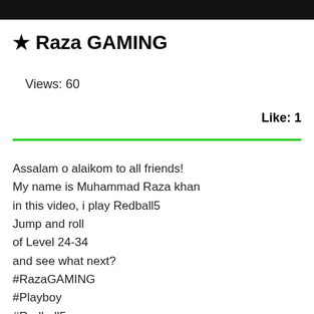★ Raza GAMING
Views: 60
Like: 1
Assalam o alaikom to all friends!
My name is Muhammad Raza khan
in this video, i play Redball5
Jump and roll
of Level 24-34
and see what next?
#RazaGAMING
#Playboy
#Redball5
Your Queries: